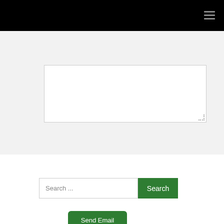[Figure (screenshot): A textarea input field (white rectangle) on a light gray form background]
Send Email
Search ...
Search